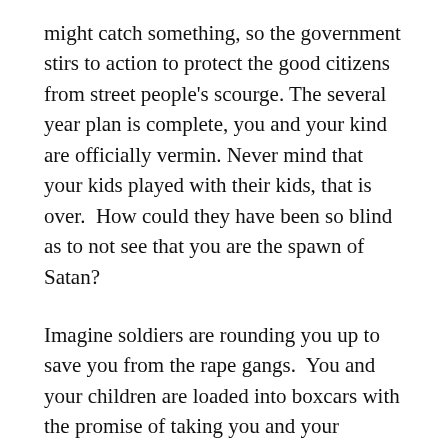might catch something, so the government stirs to action to protect the good citizens from street people's scourge. The several year plan is complete, you and your kind are officially vermin. Never mind that your kids played with their kids, that is over.  How could they have been so blind as to not see that you are the spawn of Satan?
Imagine soldiers are rounding you up to save you from the rape gangs.  You and your children are loaded into boxcars with the promise of taking you and your children away from this dangerous place. If your boys can labor for the war effort, they go one way.  If you and your daughters are of no value to the war